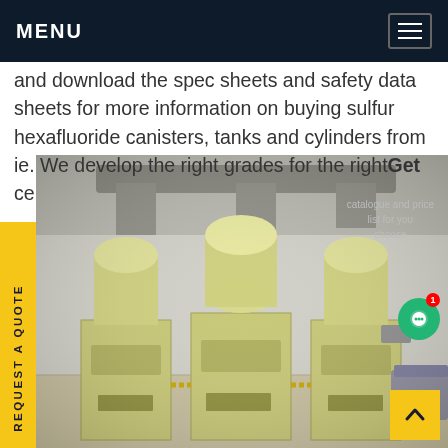MENU
and download the spec sheets and safety data sheets for more information on buying sulfur hexafluoride canisters, tanks and cylinders from ie. We develop the right grades for the rightGet ce
catalogue and price list for you choose
[Figure (photo): Industrial yellow SF6 gas recovery/filling equipment with multiple cylindrical tanks and rectangular cabinet units in a warehouse setting]
REQUEST A QUOTE